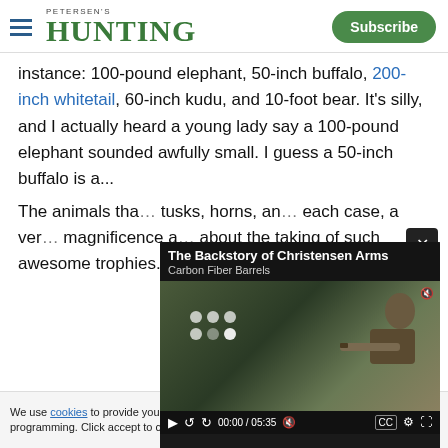PETERSEN'S HUNTING | Subscribe
instance: 100-pound elephant, 50-inch buffalo, 200-inch whitetail, 60-inch kudu, and 10-foot bear. It's silly, and I actually heard a young lady say a 100-pound elephant sounded awfully small. I guess a 50-inch buffalo is a...
[Figure (screenshot): Embedded video player showing 'The Backstory of Christensen Arms Carbon Fiber Barrels', time 00:00 / 05:35, overlaid on article text. Shows a hunter aiming a rifle with loading indicator.]
The animals tha... tusks, horns, an... each case, a ver... magnificence a... about the taking of such awesome trophies.
We use cookies to provide you with the best experience in Outdoors programming. Click accept to continue or read about our Privacy Policy.